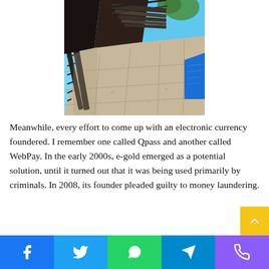[Figure (photo): Overhead/angled view of stone steps, balcony railing, and a bright blue sky or pool, with dark iron railing and stone pavers]
Meanwhile, every effort to come up with an electronic currency foundered. I remember one called Qpass and another called WebPay. In the early 2000s, e-gold emerged as a potential solution, until it turned out that it was being used primarily by criminals. In 2008, its founder pleaded guilty to money laundering.